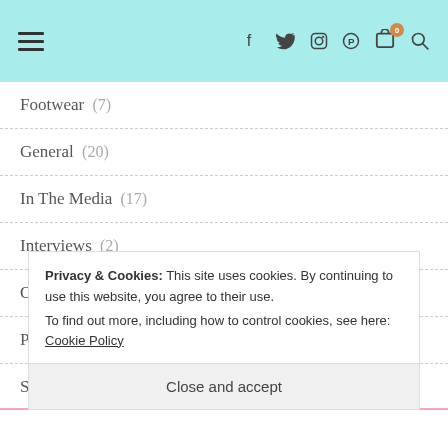Navigation bar with hamburger menu, social icons (f, twitter, instagram, pinterest, cart 0, search)
Footwear (7)
General (20)
In The Media (17)
Interviews (2)
Out and About (1)
Party Wear (4)
Street Style (6)
Styling (2)
Privacy & Cookies: This site uses cookies. By continuing to use this website, you agree to their use. To find out more, including how to control cookies, see here: Cookie Policy
Close and accept